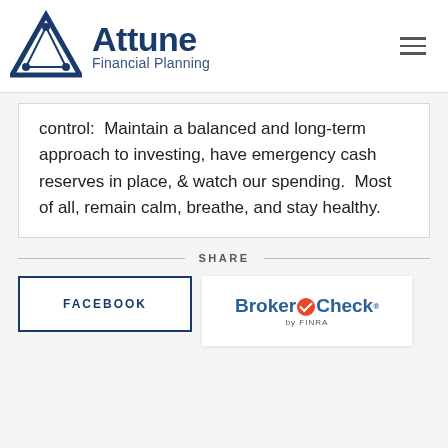[Figure (logo): Attune Financial Planning logo with triangle/people icon and company name]
control:  Maintain a balanced and long-term approach to investing, have emergency cash reserves in place, & watch our spending.  Most of all, remain calm, breathe, and stay healthy.
SHARE
FACEBOOK
[Figure (logo): BrokerCheck by FINRA logo]